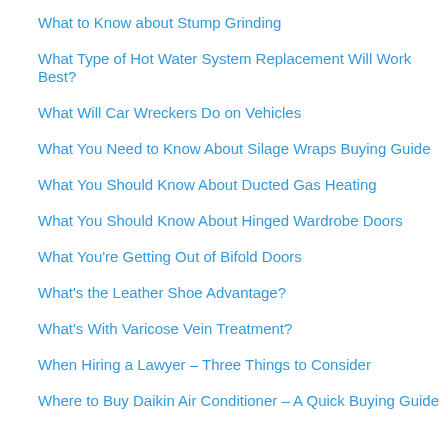What to Know about Stump Grinding
What Type of Hot Water System Replacement Will Work Best?
What Will Car Wreckers Do on Vehicles
What You Need to Know About Silage Wraps Buying Guide
What You Should Know About Ducted Gas Heating
What You Should Know About Hinged Wardrobe Doors
What You're Getting Out of Bifold Doors
What's the Leather Shoe Advantage?
What's With Varicose Vein Treatment?
When Hiring a Lawyer – Three Things to Consider
Where to Buy Daikin Air Conditioner – A Quick Buying Guide